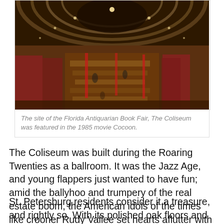[Figure (photo): Aerial/wide-angle view of The Coliseum interior packed with book fair vendor booths and visitors, showing arched wooden ceiling and red booth dividers.]
The site of the Florida Antiquarian Book Fair, The Coliseum was featured in the 1985 movie Cocoon.
The Coliseum was built during the Roaring Twenties as a ballroom. It was the Jazz Age, and young flappers just wanted to have fun; amid the ballyhoo and trumpery of the real estate boom, the American idols of the times like crooner Rudy Vallee set hearts aflutter with their boyish good looks and their melodious voices.
St. Petersburg residents consider it a treasure, and rightly so. With its polished oak floors and graceful arches, the venue, no longer used exclusively as a dance hall, still excites those who enter its doors. It evokes a time, past when